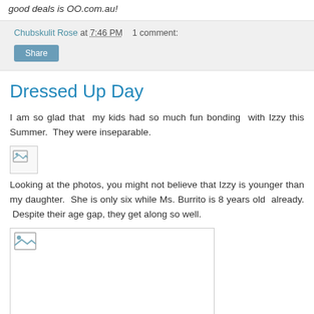good deals is OO.com.au!
Chubskulit Rose at 7:46 PM   1 comment:
Share
Dressed Up Day
I am so glad that  my kids had so much fun bonding  with Izzy this Summer.  They were inseparable.
[Figure (photo): Small broken image placeholder]
Looking at the photos, you might not believe that Izzy is younger than my daughter.  She is only six while Ms. Burrito is 8 years old  already.  Despite their age gap, they get along so well.
[Figure (photo): Large broken image placeholder in a bordered box]